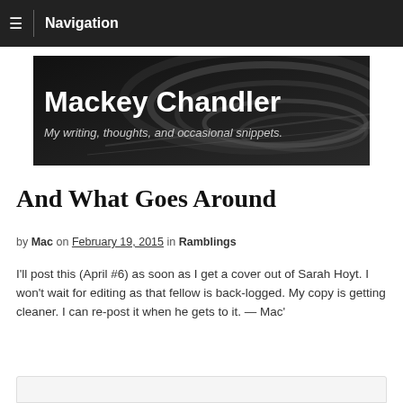≡  Navigation
[Figure (illustration): Dark textured banner image with bold white text 'Mackey Chandler' and italic subtitle 'My writing, thoughts, and occasional snippets.']
And What Goes Around
by Mac on February 19, 2015 in Ramblings
I'll post this (April #6) as soon as I get a cover out of Sarah Hoyt. I won't wait for editing as that fellow is back-logged. My copy is getting cleaner. I can re-post it when he gets to it. — Mac'